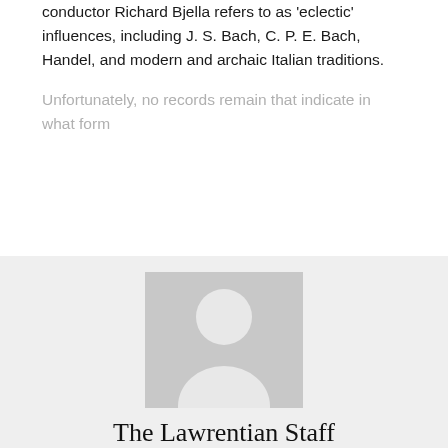conductor Richard Bjella refers to as 'eclectic' influences, including J. S. Bach, C. P. E. Bach, Handel, and modern and archaic Italian traditions.
Unfortunately, no records remain that indicate in what form
[Figure (other): A black 'SHOW MORE' button with a downward chevron arrow]
[Figure (other): A generic user avatar placeholder image showing a silhouette of a person on a grey background]
The Lawrentian Staff